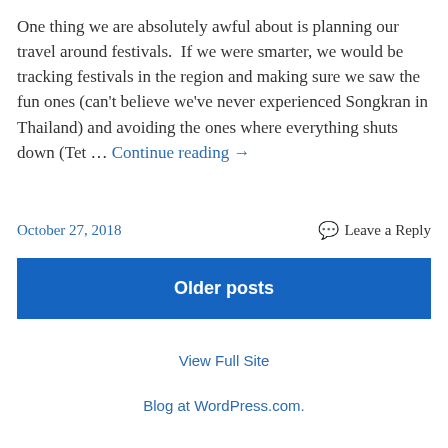One thing we are absolutely awful about is planning our travel around festivals.  If we were smarter, we would be tracking festivals in the region and making sure we saw the fun ones (can't believe we've never experienced Songkran in Thailand) and avoiding the ones where everything shuts down (Tet … Continue reading →
October 27, 2018
Leave a Reply
Older posts
View Full Site
Blog at WordPress.com.